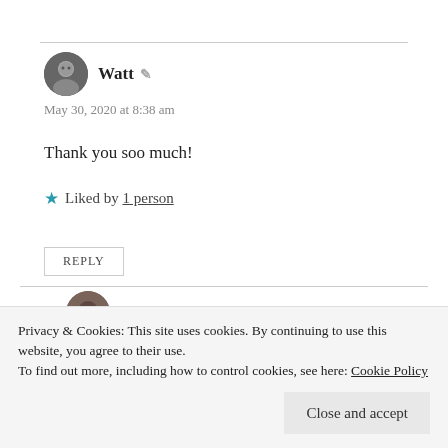Watt
May 30, 2020 at 8:38 am
Thank you soo much!
★ Liked by 1 person
REPLY
paeansunplugged
May 30, 2020 at 12:26 pm
Privacy & Cookies: This site uses cookies. By continuing to use this website, you agree to their use.
To find out more, including how to control cookies, see here: Cookie Policy
Close and accept